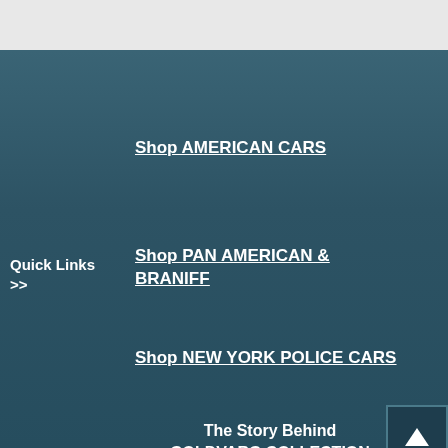Shop AMERICAN CARS
Quick Links >>
Shop PAN AMERICAN & BRANIFF
Shop NEW YORK POLICE CARS
The Story Behind GOLDVARG COLLECTION
Contact Us:
GOLDVARG COLLECTION
P.O Box 268731